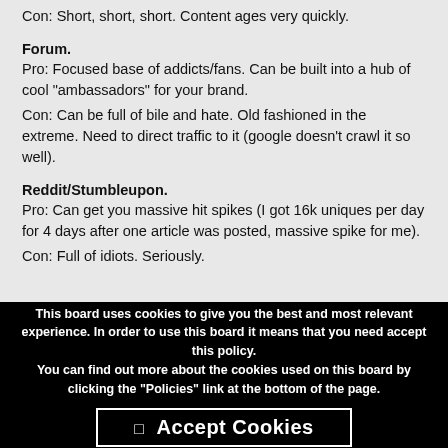Con: Short, short, short. Content ages very quickly.
Forum.
Pro: Focused base of addicts/fans. Can be built into a hub of cool "ambassadors" for your brand.
Con: Can be full of bile and hate. Old fashioned in the extreme. Need to direct traffic to it (google doesn't crawl it so well).
Reddit/Stumbleupon.
Pro: Can get you massive hit spikes (I got 16k uniques per day for 4 days after one article was posted, massive spike for me).
Con: Full of idiots. Seriously.
My ideas for a brand like CWL would be:
[*]Facebook account plugin for the forum (if you haven't already)
This board uses cookies to give you the best and most relevant experience. In order to use this board it means that you need accept this policy.
You can find out more about the cookies used on this board by clicking the "Policies" link at the bottom of the page.
✓ Accept Cookies